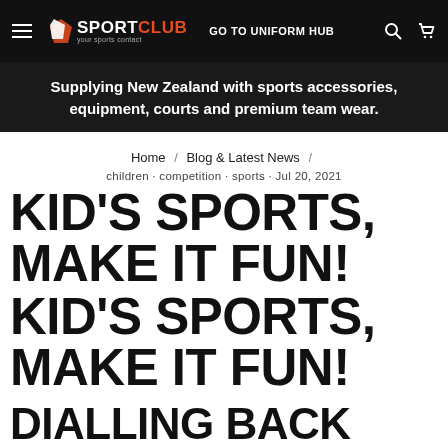≡  SPORTCLUB your sports contact  GO TO UNIFORM HUB  🔍  🛍
Supplying New Zealand with sports accessories, equipment, courts and premium team wear.
Home / Blog & Latest News /
children · competition · sports · Jul 20, 2021
KID'S SPORTS, MAKE IT FUN!
KID'S SPORTS, MAKE IT FUN!
DIALLING BACK THE COMPETITION